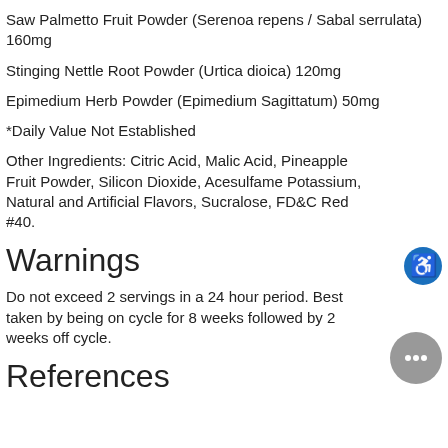Saw Palmetto Fruit Powder (Serenoa repens / Sabal serrulata) 160mg
Stinging Nettle Root Powder (Urtica dioica) 120mg
Epimedium Herb Powder (Epimedium Sagittatum) 50mg
*Daily Value Not Established
Other Ingredients: Citric Acid, Malic Acid, Pineapple Fruit Powder, Silicon Dioxide, Acesulfame Potassium, Natural and Artificial Flavors, Sucralose, FD&C Red #40.
Warnings
Do not exceed 2 servings in a 24 hour period. Best taken by being on cycle for 8 weeks followed by 2 weeks off cycle.
References